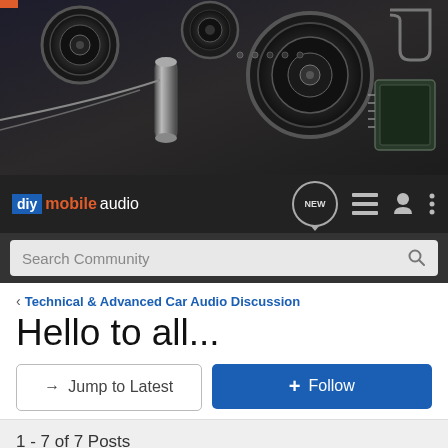[Figure (photo): Hero image of car audio equipment - speakers, subwoofers, wires, and amplifier components on dark background]
diy mobile audio — navigation bar with NEW, list, user, and menu icons
Search Community
< Technical & Advanced Car Audio Discussion
Hello to all...
→ Jump to Latest
+ Follow
1 - 7 of 7 Posts
Eastcoast · Registered
Joined Mar 26, 2005 · 91 Posts